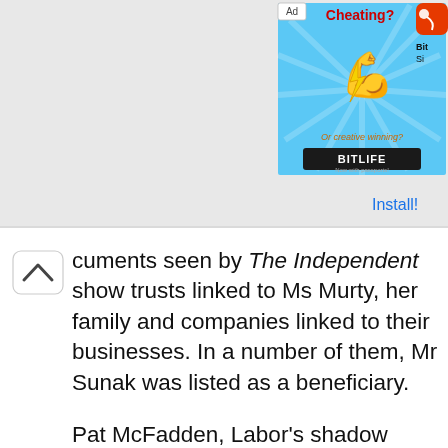[Figure (screenshot): Advertisement banner for BitLife app showing 'Cheating? Or creative winning?' with a flexed arm emoji and BitLife logo. An orange BitLife app icon is shown to the right with 'BitLife Simulator' text and an 'Install!' link.]
cuments seen by The Independent show trusts linked to Ms Murty, her family and companies linked to their businesses. In a number of them, Mr Sunak was listed as a beneficiary.
Pat McFadden, Labor's shadow chief Treasury secretary, said Mr Sunak being listed as a beneficiary of tax haven trusts is "extremely serious" and called for answers.
He said: "We need urgent answers from the chancellor as to why he has been linked to a tax haven. We need full transparency about